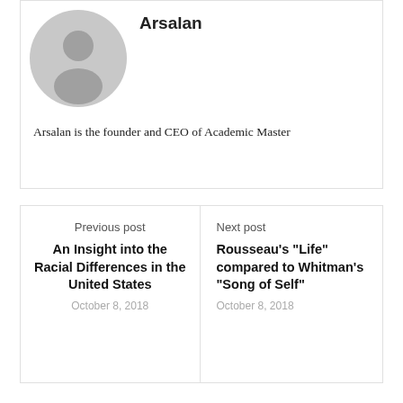[Figure (illustration): Gray default user avatar circle with person silhouette]
Arsalan
Arsalan is the founder and CEO of Academic Master
Previous post
An Insight into the Racial Differences in the United States
October 8, 2018
Next post
Rousseau's "Life" compared to Whitman's "Song of Self"
October 8, 2018